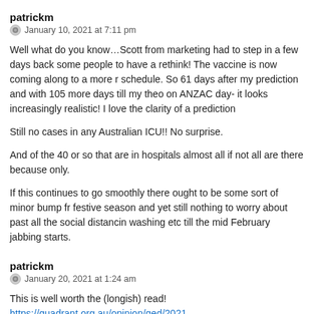patrickm
January 10, 2021 at 7:11 pm
Well what do you know…Scott from marketing had to step in a few days back some people to have a rethink! The vaccine is now coming along to a more r schedule. So 61 days after my prediction and with 105 more days till my theo on ANZAC day- it looks increasingly realistic! I love the clarity of a prediction
Still no cases in any Australian ICU!! No surprise.
And of the 40 or so that are in hospitals almost all if not all are there because only.
If this continues to go smoothly there ought to be some sort of minor bump fr festive season and yet still nothing to worry about past all the social distancin washing etc till the mid February jabbing starts.
patrickm
January 20, 2021 at 1:24 am
This is well worth the (longish) read! https://quadrant.org.au/opinion/qed/2021 19-a-realistic-approach-to-community-management/